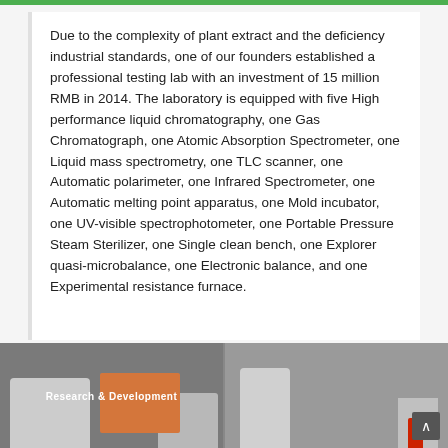Due to the complexity of plant extract and the deficiency industrial standards, one of our founders established a professional testing lab with an investment of 15 million RMB in 2014. The laboratory is equipped with five High performance liquid chromatography, one Gas Chromatograph, one Atomic Absorption Spectrometer, one Liquid mass spectrometry, one TLC scanner, one Automatic polarimeter, one Infrared Spectrometer, one Automatic melting point apparatus, one Mold incubator, one UV-visible spectrophotometer, one Portable Pressure Steam Sterilizer, one Single clean bench, one Explorer quasi-microbalance, one Electronic balance, and one Experimental resistance furnace.
[Figure (photo): Photo strip showing laboratory equipment including chromatography instruments and lab devices. Left panel labeled 'Research & Development'.]